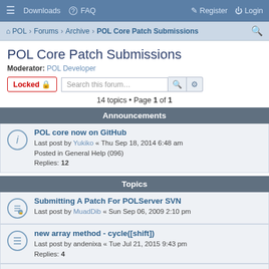≡  Downloads  ? FAQ    Register  Login
POL · Forums · Archive · POL Core Patch Submissions
POL Core Patch Submissions
Moderator: POL Developer
Locked 🔒  Search this forum...
14 topics • Page 1 of 1
Announcements
POL core now on GitHub
Last post by Yukiko « Thu Sep 18, 2014 6:48 am
Posted in General Help (096)
Replies: 12
Topics
Submitting A Patch For POLServer SVN
Last post by MuadDib « Sun Sep 06, 2009 2:10 pm
new array method - cycle([shift])
Last post by andenixa « Tue Jul 21, 2015 9:43 pm
Replies: 4
string.format() patch2 + bugfix
Last post by andenixa « Sun Jul 19, 2015 4:01 am